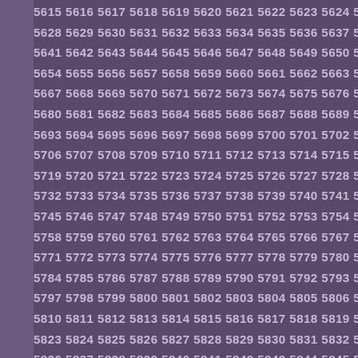5615 5616 5617 5618 5619 5620 5621 5622 5623 5624 5625 5626 5627 5628 5629 5630 5631 5632 5633 5634 5635 5636 5637 5638 5639 5641 5642 5643 5644 5645 5646 5647 5648 5649 5650 5651 5652 5654 5655 5656 5657 5658 5659 5660 5661 5662 5663 5664 5665 5667 5668 5669 5670 5671 5672 5673 5674 5675 5676 5677 5678 5680 5681 5682 5683 5684 5685 5686 5687 5688 5689 5690 5691 5693 5694 5695 5696 5697 5698 5699 5700 5701 5702 5703 5704 5706 5707 5708 5709 5710 5711 5712 5713 5714 5715 5716 5717 5719 5720 5721 5722 5723 5724 5725 5726 5727 5728 5729 5730 5732 5733 5734 5735 5736 5737 5738 5739 5740 5741 5742 5743 5745 5746 5747 5748 5749 5750 5751 5752 5753 5754 5755 5756 5758 5759 5760 5761 5762 5763 5764 5765 5766 5767 5768 5769 5771 5772 5773 5774 5775 5776 5777 5778 5779 5780 5781 5782 5784 5785 5786 5787 5788 5789 5790 5791 5792 5793 5794 5795 5797 5798 5799 5800 5801 5802 5803 5804 5805 5806 5807 5808 5810 5811 5812 5813 5814 5815 5816 5817 5818 5819 5820 5821 5823 5824 5825 5826 5827 5828 5829 5830 5831 5832 5833 5834 5836 5837 5838 5839 5840 5841 5842 5843 5844 5845 5846 5847 5849 5850 5851 5852 5853 5854 5855 5856 5857 5858 5859 5860 5862 5863 5864 5865 5866 5867 5868 5869 5870 5871